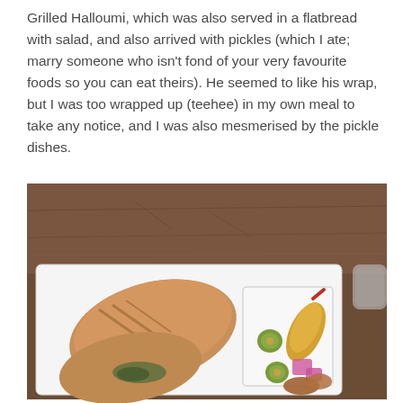Grilled Halloumi, which was also served in a flatbread with salad, and also arrived with pickles (which I ate; marry someone who isn't fond of your very favourite foods so you can eat theirs). He seemed to like his wrap, but I was too wrapped up (teehee) in my own meal to take any notice, and I was also mesmerised by the pickle dishes.
[Figure (photo): A white rectangular plate on a dark wooden table. On the left side of the plate are two grilled flatbread wraps/rolls. On the right side is a small white square dish containing pickles: green olives, a yellow-orange pickled pepper with a red stem/stick, and pink pickled items. A glass is partially visible in the upper right corner.]